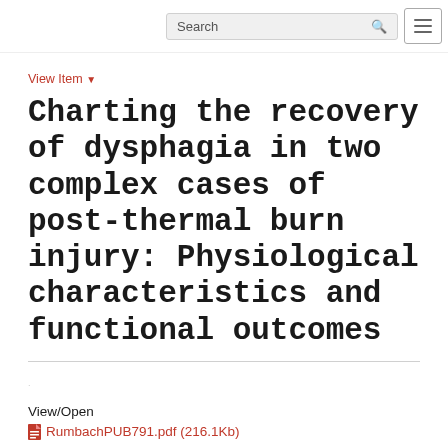Search
View Item
Charting the recovery of dysphagia in two complex cases of post-thermal burn injury: Physiological characteristics and functional outcomes
View/Open
RumbachPUB791.pdf (216.1Kb)